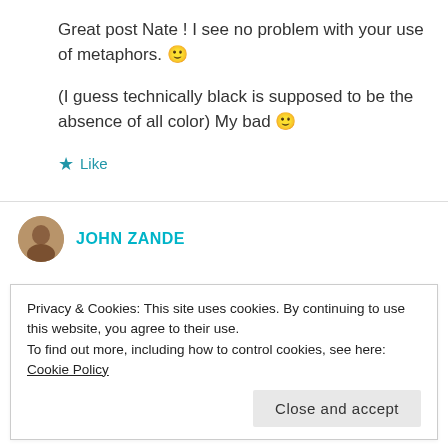Great post Nate ! I see no problem with your use of metaphors. 🙂
(I guess technically black is supposed to be the absence of all color) My bad 🙂
★ Like
JOHN ZANDE
Privacy & Cookies: This site uses cookies. By continuing to use this website, you agree to their use.
To find out more, including how to control cookies, see here: Cookie Policy
Close and accept